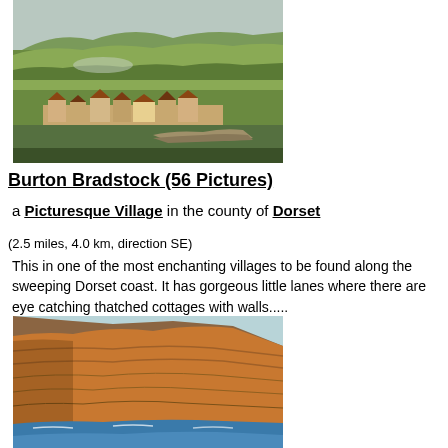[Figure (photo): Aerial/distant view of Burton Bradstock village with green hills, houses, and stone wall remnants in the foreground]
Burton Bradstock (56 Pictures)
a Picturesque Village in the county of Dorset
(2.5 miles, 4.0 km, direction SE)
This in one of the most enchanting villages to be found along the sweeping Dorset coast. It has gorgeous little lanes where there are eye catching thatched cottages with walls.....
[Figure (photo): Coastal cliff scene at Burton Bradstock showing orange/brown sandstone cliffs meeting blue sea water with sandy beach below]